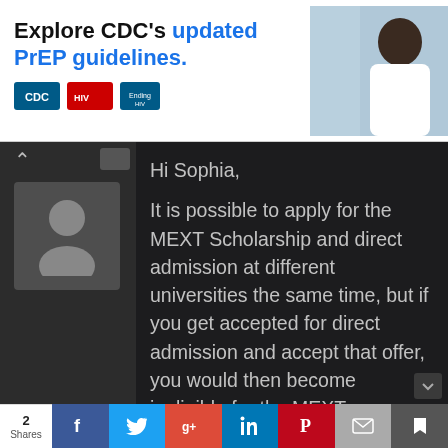[Figure (screenshot): Advertisement banner: Explore CDC's updated PrEP guidelines with CDC, HIV, and additional logos, plus photo of a smiling healthcare professional.]
Hi Sophia,

It is possible to apply for the MEXT Scholarship and direct admission at different universities the same time, but if you get accepted for direct admission and accept that offer, you would then become ineligible for the MEXT Scholarship, even if it was halfway through the application process, so you'd have to make a decision at that point. If the direct admission would require you to make a decision before you knew the
[Figure (screenshot): Social sharing bar at the bottom showing share count of 2 Shares, and buttons for Facebook, Twitter, Google+, LinkedIn, Pinterest, Email, and Bookmark.]